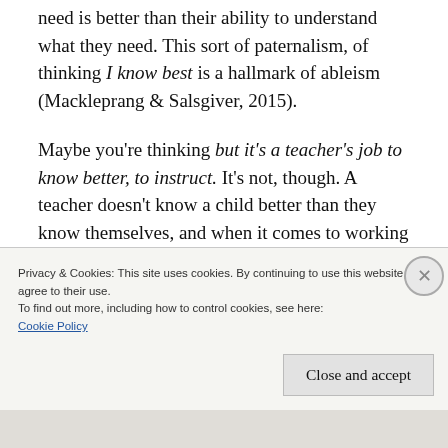need is better than their ability to understand what they need. This sort of paternalism, of thinking I know best is a hallmark of ableism (Mackleprang & Salsgiver, 2015).
Maybe you're thinking but it's a teacher's job to know better, to instruct. It's not, though. A teacher doesn't know a child better than they know themselves, and when it comes to working with students with disabilities, the students are the experts, regardless of their
Privacy & Cookies: This site uses cookies. By continuing to use this website, you agree to their use.
To find out more, including how to control cookies, see here:
Cookie Policy
Close and accept